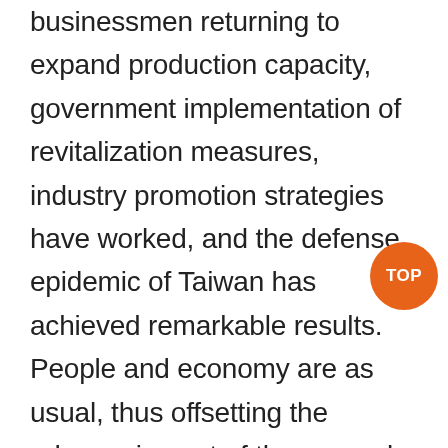businessmen returning to expand production capacity, government implementation of revitalization measures, industry promotion strategies have worked, and the defense epidemic of Taiwan has achieved remarkable results. People and economy are as usual, thus offsetting the adverse impact of the general environment, the economic performance in the third quarter came to the fore with GDP growth of 3.92%. In addition to the increased consumption of Chinese in Taiwan, which boosted the performance of commercial operations, the ban on chip trade under the US-China trade war has also improved the performance of related products in Taiwan, especially in production and